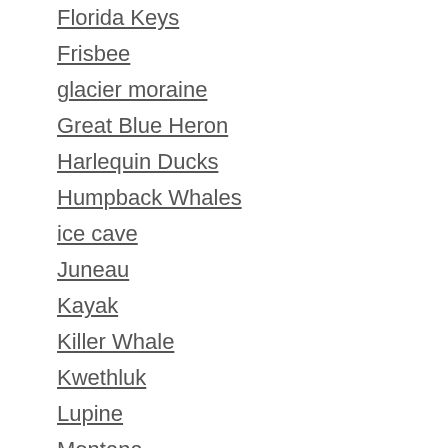Florida Keys
Frisbee
glacier moraine
Great Blue Heron
Harlequin Ducks
Humpback Whales
ice cave
Juneau
Kayak
Killer Whale
Kwethluk
Lupine
Montana
Moose
Mountain Goat
Nature
New York City
Northern Harrier
Orcas